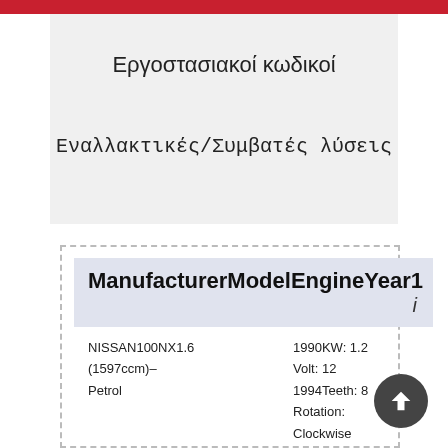Εργοστασιακοί κωδικοί
Εναλλακτικές/Συμβατές λύσεις
| ManufacturerModelEngineYear1 | i |
| --- | --- |
| NISSAN100NX1.6 (1597ccm)–Petrol | 1990KW: 1.2
Volt: 12
1994Teeth: 8
Rotation:
Clockwise |